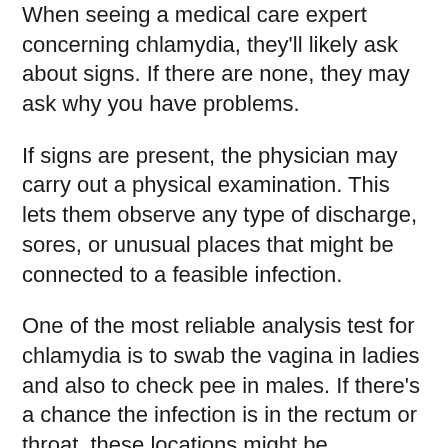When seeing a medical care expert concerning chlamydia, they'll likely ask about signs. If there are none, they may ask why you have problems.
If signs are present, the physician may carry out a physical examination. This lets them observe any type of discharge, sores, or unusual places that might be connected to a feasible infection.
One of the most reliable analysis test for chlamydia is to swab the vagina in ladies and also to check pee in males. If there's a chance the infection is in the rectum or throat, these locations might be swabbed.
Outcomes might take several days. The physician's office must call to review the results. If the test returns positive, a follow-up